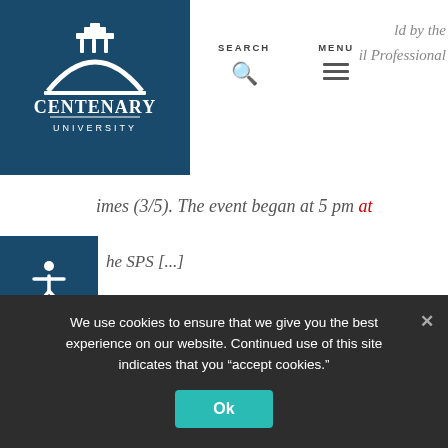[Figure (logo): Centenary University logo - white arch/building icon above text CENTENARY UNIVERSITY on dark teal background]
SEARCH  MENU
ld by the … il Professonal … ld at 5 pm … at
he SPS [...]
02/11 | Centenary University Hosts Tim Tebow Foundation's Night to Shine
This prom experience serves and helps bring awareness to young adults with special needs. Centenary University hosted its first annual
We use cookies to ensure that we give you the best experience on our website. Continued use of this site indicates that you "accept cookies."